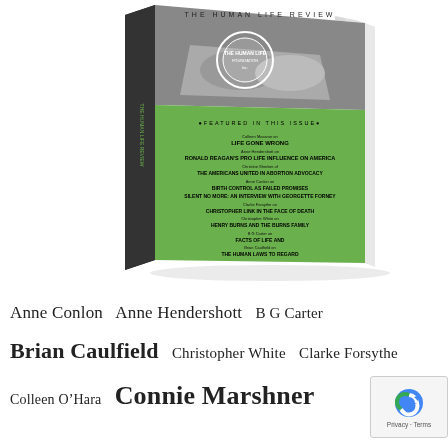[Figure (illustration): A 3D rendered book cover of 'The Human Life Review' magazine/journal with a green lower half showing featured article titles and a black-and-white upper half with a circular logo. The book is shown standing upright at an angle.]
Anne Conlon  Anne Hendershott  B G Carter  Brian Caulfield  Christopher White  Clarke Forsythe  Colleen O'Hara  Connie Marshner